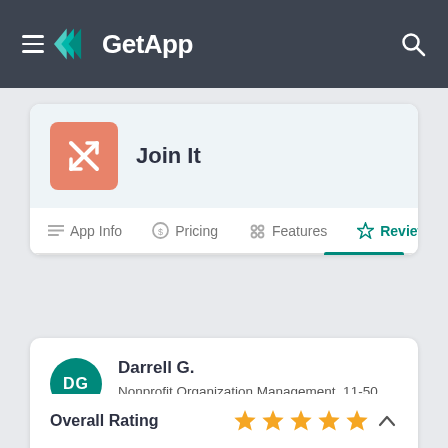GetApp
Join It
App Info  Pricing  Features  Reviews
Darrell G.
Nonprofit Organization Management, 11-50 employees
Used daily for less than 6 months
Review source
Overall Rating